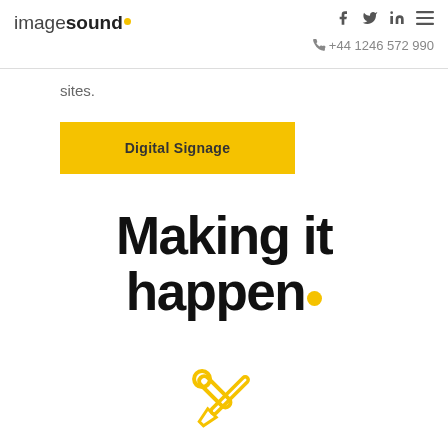imagesound. [logo] | Facebook | Twitter | LinkedIn | Menu | +44 1246 572 990
sites.
Digital Signage
Making it happen.
[Figure (illustration): Yellow wrench/tools icon (crossed tools/spanners) at bottom center]